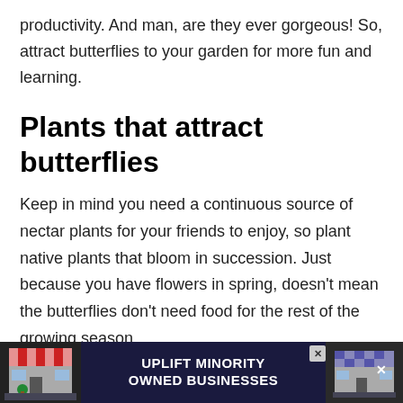productivity. And man, are they ever gorgeous! So, attract butterflies to your garden for more fun and learning.
Plants that attract butterflies
Keep in mind you need a continuous source of nectar plants for your friends to enjoy, so plant native plants that bloom in succession. Just because you have flowers in spring, doesn't mean the butterflies don't need food for the rest of the growing season.
[Figure (other): Advertisement banner: UPLIFT MINORITY OWNED BUSINESSES with store graphics on dark background]